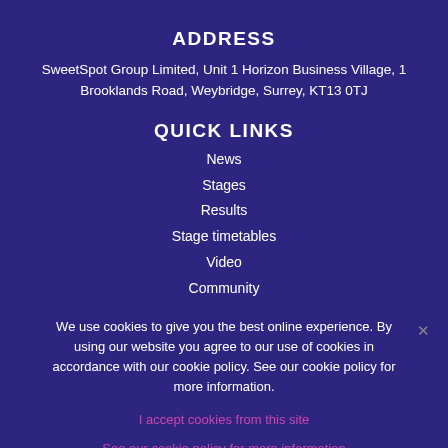ADDRESS
SweetSpot Group Limited, Unit 1 Horizon Business Village, 1 Brooklands Road, Weybridge, Surrey, KT13 0TJ
QUICK LINKS
News
Stages
Results
Stage timetables
Video
Community
We use cookies to give you the best online experience. By using our website you agree to our use of cookies in accordance with our cookie policy. See our cookie policy for more information.
I accept cookies from this site
See our cookie policy for more information